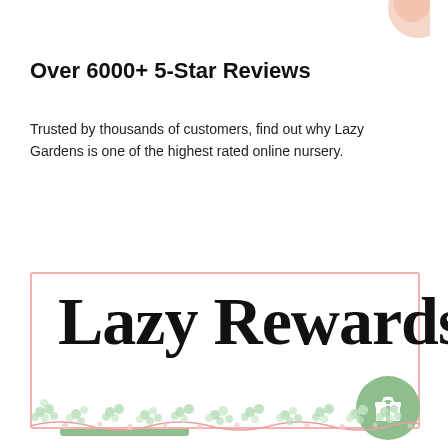[Figure (illustration): Partial view of a decorative peach/pink circular illustration at top right corner]
Over 6000+ 5-Star Reviews
Trusted by thousands of customers, find out why Lazy Gardens is one of the highest rated online nursery.
Read Reviews
[Figure (illustration): Lazy Rewards banner with a pink border rectangle containing large handwritten-style text 'Lazy Rewards', a green gift icon circle at bottom right, and a decorative floral vine strip along the bottom]